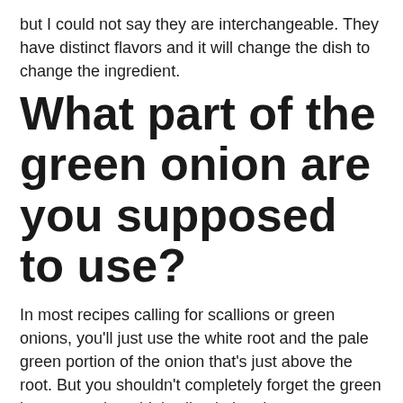but I could not say they are interchangeable. They have distinct flavors and it will change the dish to change the ingredient.
What part of the green onion are you supposed to use?
In most recipes calling for scallions or green onions, you’ll just use the white root and the pale green portion of the onion that’s just above the root. But you shouldn’t completely forget the green leaves — when thinly sliced, they become a delicious garnish for everything from soups to casseroles.
What is the difference